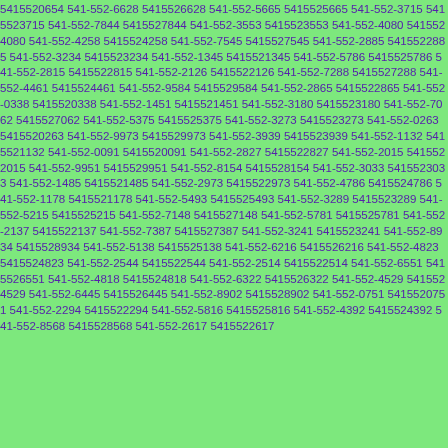5415520654 541-552-6628 5415526628 541-552-5665 5415525665 541-552-3715 5415523715 541-552-7844 5415527844 541-552-3553 5415523553 541-552-4080 5415524080 541-552-4258 5415524258 541-552-7545 5415527545 541-552-2885 5415522885 541-552-3234 5415523234 541-552-1345 5415521345 541-552-5786 5415525786 541-552-2815 5415522815 541-552-2126 5415522126 541-552-7288 5415527288 541-552-4461 5415524461 541-552-9584 5415529584 541-552-2865 5415522865 541-552-0338 5415520338 541-552-1451 5415521451 541-552-3180 5415523180 541-552-7062 5415527062 541-552-5375 5415525375 541-552-3273 5415523273 541-552-0263 5415520263 541-552-9973 5415529973 541-552-3939 5415523939 541-552-1132 5415521132 541-552-0091 5415520091 541-552-2827 5415522827 541-552-2015 5415522015 541-552-9951 5415529951 541-552-8154 5415528154 541-552-3033 5415523033 541-552-1485 5415521485 541-552-2973 5415522973 541-552-4786 5415524786 541-552-1178 5415521178 541-552-5493 5415525493 541-552-3289 5415523289 541-552-5215 5415525215 541-552-7148 5415527148 541-552-5781 5415525781 541-552-2137 5415522137 541-552-7387 5415527387 541-552-3241 5415523241 541-552-8934 5415528934 541-552-5138 5415525138 541-552-6216 5415526216 541-552-4823 5415524823 541-552-2544 5415522544 541-552-2514 5415522514 541-552-6551 5415526551 541-552-4818 5415524818 541-552-6322 5415526322 541-552-4529 5415524529 541-552-6445 5415526445 541-552-8902 5415528902 541-552-0751 5415520751 541-552-2294 5415522294 541-552-5816 5415525816 541-552-4392 5415524392 541-552-8568 5415528568 541-552-2617 5415522617